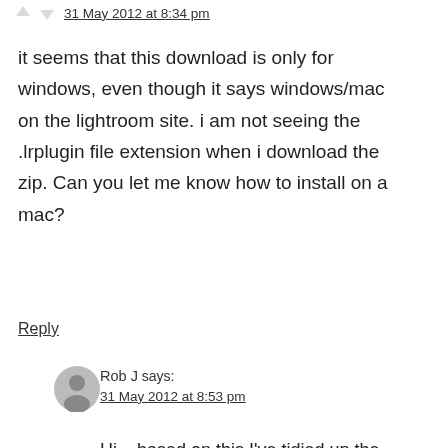31 May 2012 at 8:34 pm
it seems that this download is only for windows, even though it says windows/mac on the lightroom site. i am not seeing the .lrplugin file extension when i download the zip. Can you let me know how to install on a mac?
Reply
Rob J says:
31 May 2012 at 8:53 pm
Hi – based on this I've tidied up the Installation guide to give a few more instructions and screenshots.